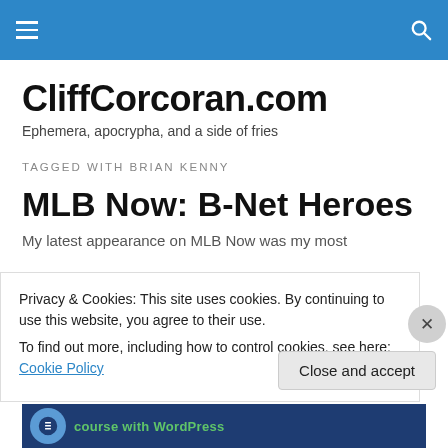CliffCorcoran.com navigation header bar
CliffCorcoran.com
Ephemera, apocrypha, and a side of fries
TAGGED WITH BRIAN KENNY
MLB Now: B-Net Heroes
My latest appearance on MLB Now was my most
Privacy & Cookies: This site uses cookies. By continuing to use this website, you agree to their use.
To find out more, including how to control cookies, see here: Cookie Policy
Close and accept
[Figure (screenshot): WordPress course promotional banner at bottom of page]